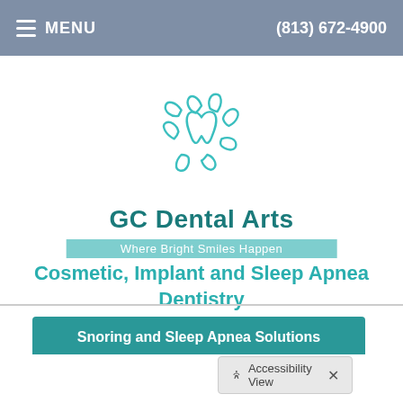≡ MENU   (813) 672-4900
[Figure (logo): GC Dental Arts flower/tooth logo in teal outline style — a circular arrangement of tooth-shaped petals around a central tooth]
GC Dental Arts
Where Bright Smiles Happen
Cosmetic, Implant and Sleep Apnea Dentistry
Snoring and Sleep Apnea Solutions
Accessibility View  ×